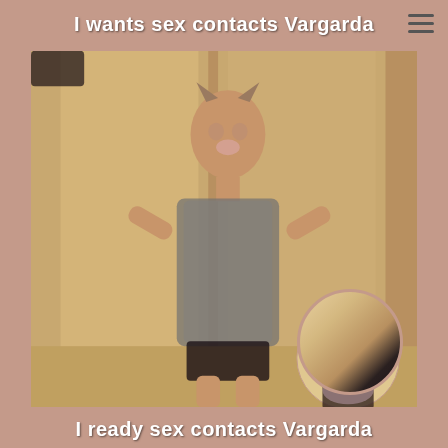I wants sex contacts Vargarda
[Figure (photo): Woman wearing cat ears and sheer mesh bodysuit with black underwear, posing indoors in front of wooden cabinet doors. A smaller circular thumbnail in the bottom right shows a blonde woman.]
I ready sex contacts Vargarda